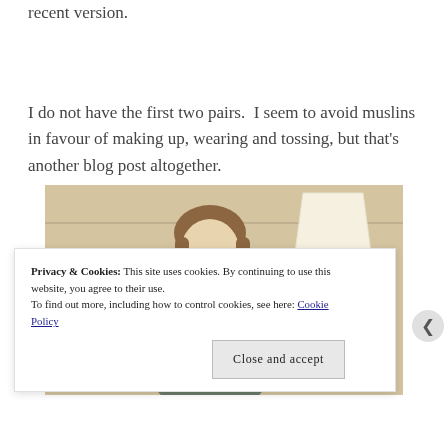recent version.
I do not have the first two pairs.  I seem to avoid muslins in favour of making up, wearing and tossing, but that's another blog post altogether.
[Figure (photo): Portrait photo of a woman with glasses and brown hair, seated in front of a lamp with a pleated shade on a gold base, against a beige wall.]
Privacy & Cookies: This site uses cookies. By continuing to use this website, you agree to their use.
To find out more, including how to control cookies, see here: Cookie Policy
Close and accept